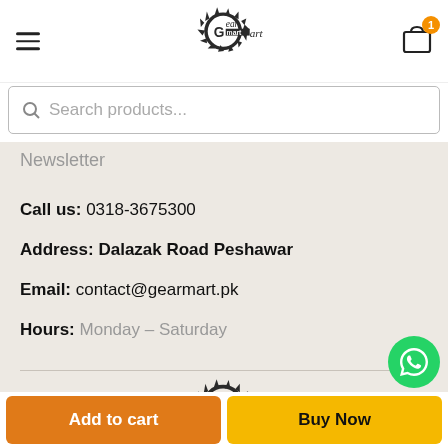[Figure (logo): GearMart logo in header - gear icon with sun rays and stylized text]
Search products...
Newsletter
Call us: 0318-3675300
Address: Dalazak Road Peshawar
Email: contact@gearmart.pk
Hours: Monday – Saturday
[Figure (logo): GearMart logo in footer - gear icon with sun rays and stylized text]
Add to cart
Buy Now